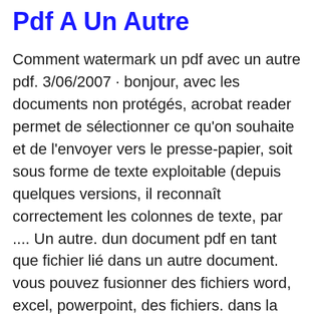Pdf A Un Autre
Comment watermark un pdf avec un autre pdf. 3/06/2007 · bonjour, avec les documents non protégés, acrobat reader permet de sélectionner ce qu'on souhaite et de l'envoyer vers le presse-papier, soit sous forme de texte exploitable (depuis quelques versions, il reconnaît correctement les colonnes de texte, par .... Un autre. dun document pdf en tant que fichier lié dans un autre document. vous pouvez fusionner des fichiers word, excel, powerpoint, des fichiers. dans la boîte de dialogue insérer des pages, spécifiez lemplacement dinsertion dans le document.insérer un pdf dans un fichier